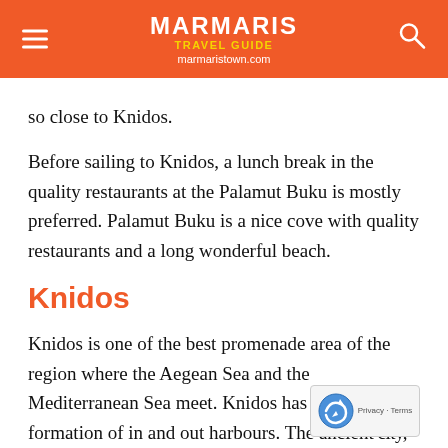MARMARIS TRAVEL GUIDE marmaristown.com
so close to Knidos.
Before sailing to Knidos, a lunch break in the quality restaurants at the Palamut Buku is mostly preferred. Palamut Buku is a nice cove with quality restaurants and a long wonderful beach.
Knidos
Knidos is one of the best promenade area of the region where the Aegean Sea and the Mediterranean Sea meet. Knidos has a artific... formation of in and out harbours. The ancien... city,